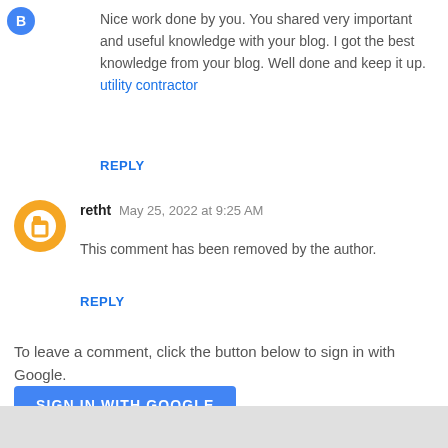[Figure (logo): Small blue blogger icon in top left corner]
Nice work done by you. You shared very important and useful knowledge with your blog. I got the best knowledge from your blog. Well done and keep it up. utility contractor
REPLY
[Figure (illustration): Orange circular Blogger avatar icon with white B logo]
retht  May 25, 2022 at 9:25 AM
This comment has been removed by the author.
REPLY
To leave a comment, click the button below to sign in with Google.
SIGN IN WITH GOOGLE